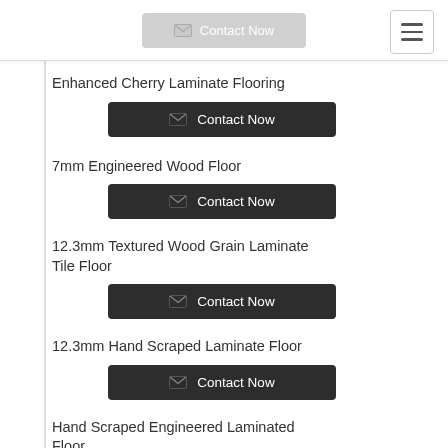Contact Now
Enhanced Cherry Laminate Flooring
Contact Now
7mm Engineered Wood Floor
Contact Now
12.3mm Textured Wood Grain Laminate Tile Floor
Contact Now
12.3mm Hand Scraped Laminate Floor
Contact Now
Hand Scraped Engineered Laminated Floor
Contact Now